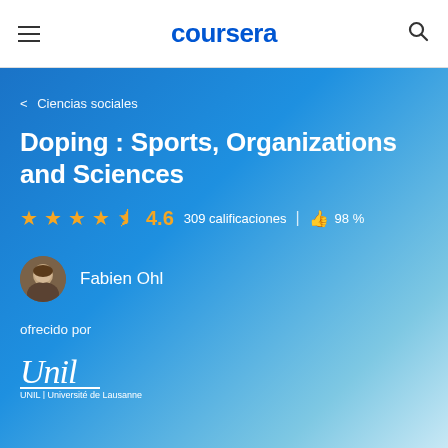coursera
< Ciencias sociales
Doping : Sports, Organizations and Sciences
4.6  309 calificaciones  |  98 %
Fabien Ohl
ofrecido por
[Figure (logo): UNIL | Université de Lausanne logo with handwritten signature style text]
UNIL | Université de Lausanne